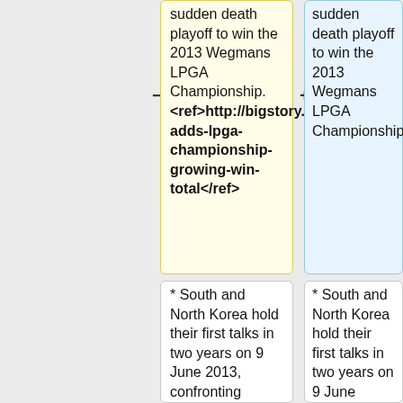sudden death playoff to win the 2013 Wegmans LPGA Championship. <ref>http://bigstory.ap.org/article/park-adds-lpga-championship-growing-win-total</ref>
sudden death playoff to win the 2013 Wegmans LPGA Championship.
* South and North Korea hold their first talks in two years on 9 June 2013, confronting decades of mutual distrust in a search for some positive
* South and North Korea hold their first talks in two years on 9 June 2013, confronting decades of mutual distrust in a search for some positive